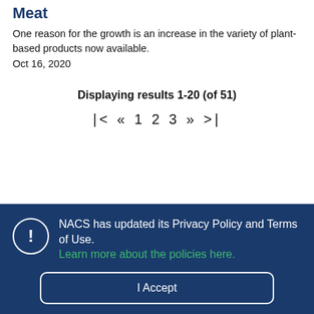Meat
One reason for the growth is an increase in the variety of plant-based products now available.
Oct 16, 2020
Displaying results 1-20 (of 51)
|<  << 1 2 3  >> >|
NACS has updated its Privacy Policy and Terms of Use. Learn more about the policies here.
I Accept